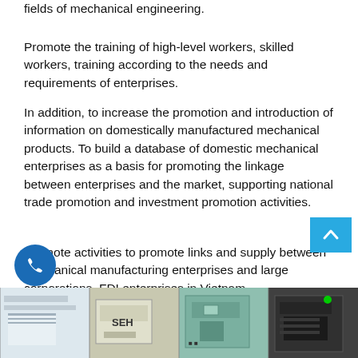fields of mechanical engineering.
Promote the training of high-level workers, skilled workers, training according to the needs and requirements of enterprises.
In addition, to increase the promotion and introduction of information on domestically manufactured mechanical products. To build a database of domestic mechanical enterprises as a basis for promoting the linkage between enterprises and the market, supporting national trade promotion and investment promotion activities.
Promote activities to promote links and supply between mechanical manufacturing enterprises and large corporations, FDI enterprises in Vietnam.
[Figure (photo): Strip of industrial/manufacturing machinery photos at the bottom of the page, showing mechanical equipment and factory machines. A blue phone button is in the lower left and a blue scroll-to-top arrow button is at the right.]